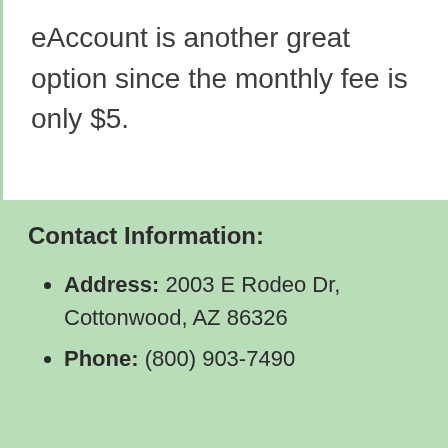eAccount is another great option since the monthly fee is only $5.
Contact Information:
Address: 2003 E Rodeo Dr, Cottonwood, AZ 86326
Phone: (800) 903-7490